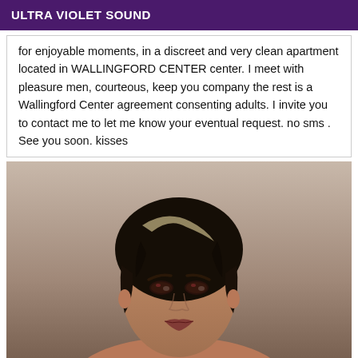ULTRA VIOLET SOUND
for enjoyable moments, in a discreet and very clean apartment located in WALLINGFORD CENTER center. I meet with pleasure men, courteous, keep you company the rest is a Wallingford Center agreement consenting adults. I invite you to contact me to let me know your eventual request. no sms . See you soon. kisses
[Figure (photo): Portrait photo of a woman with dark hair pulled back, looking at the camera, close-up shot with neutral background]